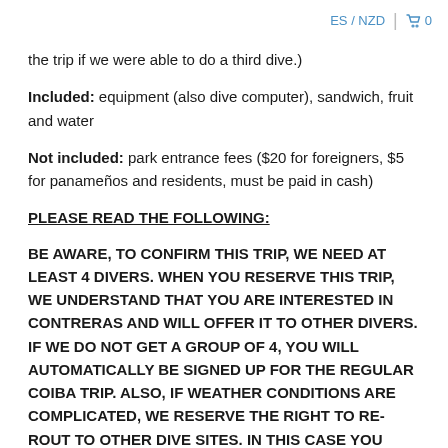ES / NZD  🛒 0
the trip if we were able to do a third dive.)
Included: equipment (also dive computer), sandwich, fruit and water
Not included: park entrance fees ($20 for foreigners, $5 for panameños and residents, must be paid in cash)
PLEASE READ THE FOLLOWING:
BE AWARE, TO CONFIRM THIS TRIP, WE NEED AT LEAST 4 DIVERS. WHEN YOU RESERVE THIS TRIP, WE UNDERSTAND THAT YOU ARE INTERESTED IN CONTRERAS AND WILL OFFER IT TO OTHER DIVERS. IF WE DO NOT GET A GROUP OF 4, YOU WILL AUTOMATICALLY BE SIGNED UP FOR THE REGULAR COIBA TRIP. ALSO, IF WEATHER CONDITIONS ARE COMPLICATED, WE RESERVE THE RIGHT TO RE-ROUT TO OTHER DIVE SITES. IN THIS CASE YOU WILL BE REFUNDED THE DIFFERENCE OF $25.